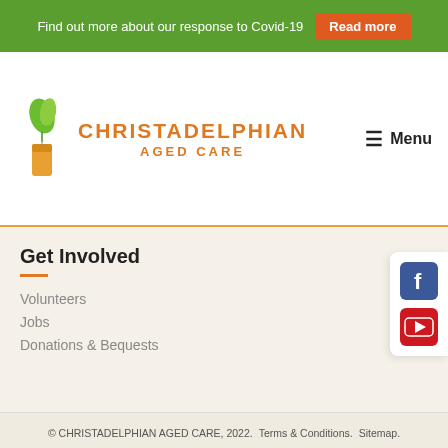Find out more about our response to Covid-19  Read more
[Figure (logo): Christadelphian Aged Care logo: green leaf and orange candle icon with orange text]
≡ Menu
Get Involved
Volunteers
Jobs
Donations & Bequests
© CHRISTADELPHIAN AGED CARE, 2022.   Terms & Conditions.   Sitemap.   WEBDESIGN CREATED BY ROOBIX